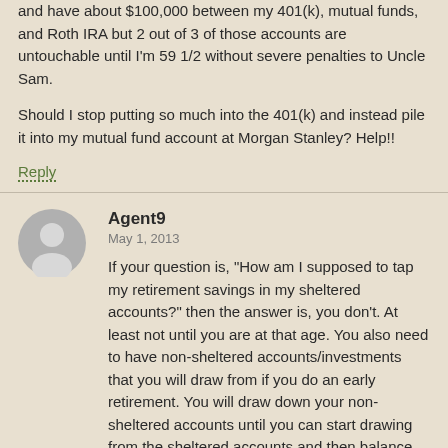and have about $100,000 between my 401(k), mutual funds, and Roth IRA but 2 out of 3 of those accounts are untouchable until I'm 59 1/2 without severe penalties to Uncle Sam.

Should I stop putting so much into the 401(k) and instead pile it into my mutual fund account at Morgan Stanley? Help!!
Reply
Agent9
May 1, 2013
If your question is, "How am I supposed to tap my retirement savings in my sheltered accounts?" then the answer is, you don't. At least not until you are at that age. You also need to have non-sheltered accounts/investments that you will draw from if you do an early retirement. You will draw down your non-sheltered accounts until you can start drawing from the sheltered accounts and then balance your withdrawals between the 2 based on tax advantages.
Reply